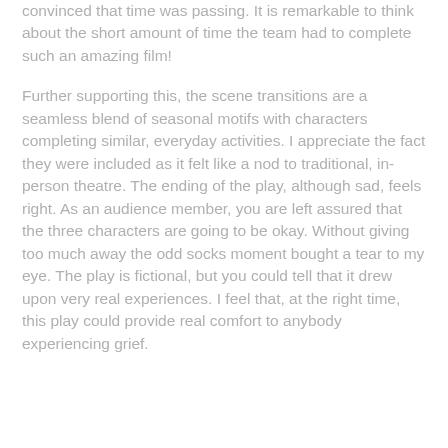convinced that time was passing. It is remarkable to think about the short amount of time the team had to complete such an amazing film!
Further supporting this, the scene transitions are a seamless blend of seasonal motifs with characters completing similar, everyday activities. I appreciate the fact they were included as it felt like a nod to traditional, in-person theatre. The ending of the play, although sad, feels right. As an audience member, you are left assured that the three characters are going to be okay. Without giving too much away the odd socks moment bought a tear to my eye. The play is fictional, but you could tell that it drew upon very real experiences. I feel that, at the right time, this play could provide real comfort to anybody experiencing grief.